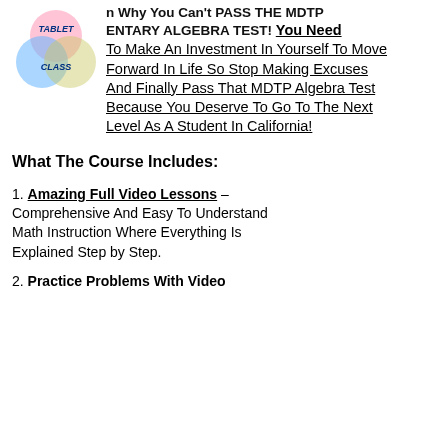…because I WANT YOU TO HAVE NO EXCUSE n Why You Can't PASS THE MDTP ELEMENTARY ALGEBRA TEST! You Need To Make An Investment In Yourself To Move Forward In Life So Stop Making Excuses And Finally Pass That MDTP Algebra Test Because You Deserve To Go To The Next Level As A Student In California!
What The Course Includes:
1. Amazing Full Video Lessons – Comprehensive And Easy To Understand Math Instruction Where Everything Is Explained Step by Step.
2. Practice Problems With Video